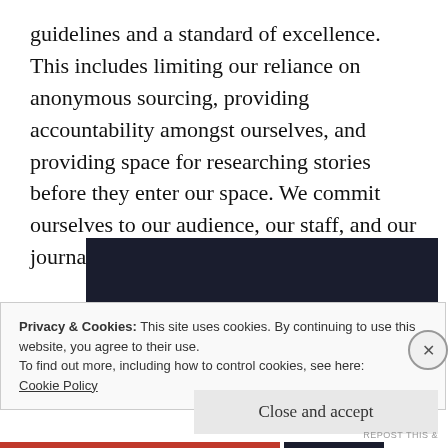guidelines and a standard of excellence. This includes limiting our reliance on anonymous sourcing, providing accountability amongst ourselves, and providing space for researching stories before they enter our space. We commit ourselves to our audience, our staff, and our journalist's respective institutions.
[Figure (photo): Dark/black rectangular image area, likely a video or photo embed]
Privacy & Cookies: This site uses cookies. By continuing to use this website, you agree to their use.
To find out more, including how to control cookies, see here:
Cookie Policy
Close and accept